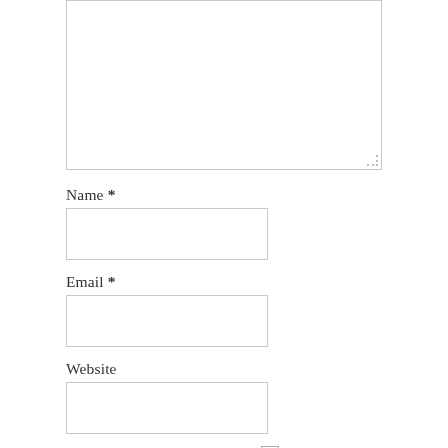[Figure (screenshot): Text area input box (comment field) at the top, partially cut off, with resize handle]
Name *
[Figure (screenshot): Name input text field]
Email *
[Figure (screenshot): Email input text field]
Website
[Figure (screenshot): Website input text field]
Save my name, email, and website in this browser for the next time I comment.
Rate this recipe: ☆ ☆ ☆ ☆ ☆
POST COMMENT